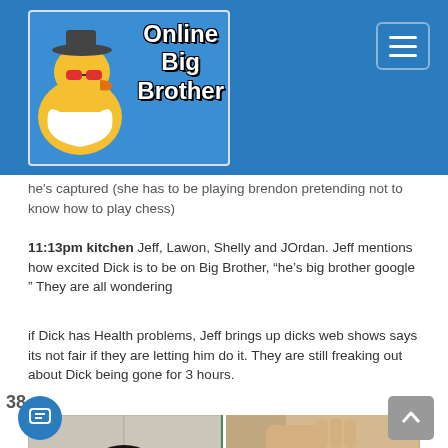[Figure (logo): Online Big Brother website header logo with rubber duck wearing sunglasses and hat on blue background]
he's captured (she has to be playing brendon pretending not to know how to play chess)
11:13pm kitchen Jeff, Lawon, Shelly and JOrdan. Jeff mentions how excited Dick is to be on Big Brother, “he’s big brother google ” They are all wondering
if Dick has Health problems, Jeff brings up dicks web shows says its not fair if they are letting him do it. They are still freaking out about Dick being gone for 3 hours.
[Figure (photo): Two-panel photo: left shows a man with red sunglasses wearing a green t-shirt; right shows someone getting facial treatment]